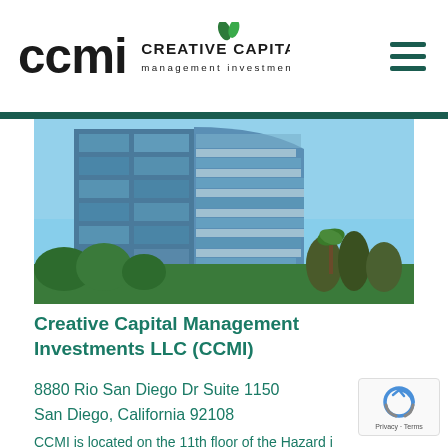CCMI Creative Capital Management Investments logo and navigation
[Figure (photo): Exterior photograph of a modern multi-story glass office building with blue reflective windows under a clear blue sky, surrounded by palm trees and green foliage]
Creative Capital Management Investments LLC (CCMI)
8880 Rio San Diego Dr Suite 1150
San Diego, California 92108
CCMI is located on the 11th floor of the Hazard i Ri...